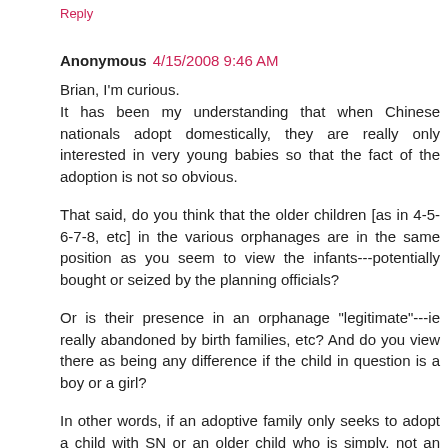Reply
Anonymous  4/15/2008 9:46 AM
Brian, I'm curious.
It has been my understanding that when Chinese nationals adopt domestically, they are really only interested in very young babies so that the fact of the adoption is not so obvious.
That said, do you think that the older children [as in 4-5-6-7-8, etc] in the various orphanages are in the same position as you seem to view the infants---potentially bought or seized by the planning officials?
Or is their presence in an orphanage "legitimate"---ie really abandoned by birth families, etc? And do you view there as being any difference if the child in question is a boy or a girl?
In other words, if an adoptive family only seeks to adopt a child with SN or an older child who is simply, not an infant, or a older boy, can they feel that their child was